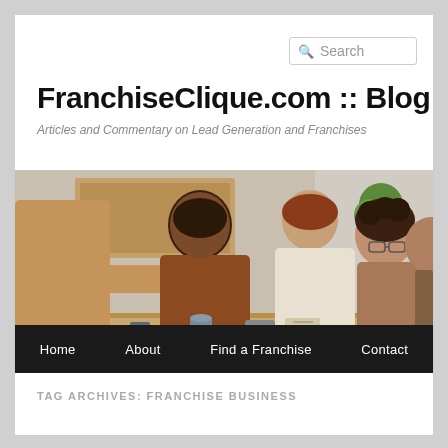Search
FranchiseClique.com :: Blog
Articles and Commentary on Lead Generation and Franchises
[Figure (photo): Group of people at a table, two individuals shaking hands, others watching, business meeting setting]
Home | About | Find a Franchise | Contact
TAG ARCHIVES: FRANCHISE BUSINESS